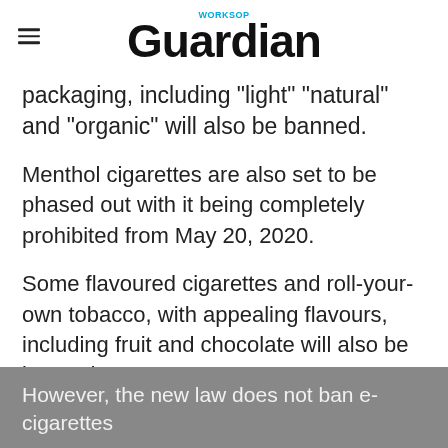Worksop Guardian
packaging, including "light" "natural" and "organic" will also be banned.
Menthol cigarettes are also set to be phased out with it being completely prohibited from May 20, 2020.
Some flavoured cigarettes and roll-your-own tobacco, with appealing flavours, including fruit and chocolate will also be banned.
However, the new law does not ban e-cigarettes